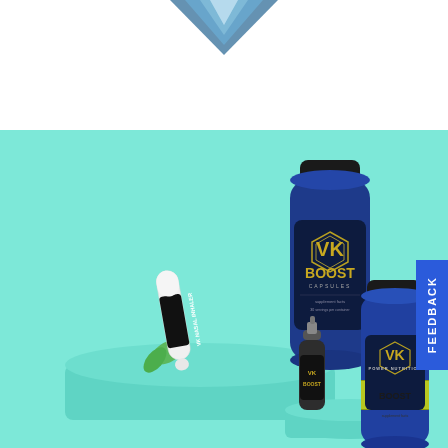[Figure (photo): Top portion showing a mountain peak or crystal/ice shape on white background, partially cropped at top]
[Figure (photo): VK Boost product line on teal/mint background: VK Boost Capsules blue supplement bottle with hexagon logo, VK Nasal Inhaler stick (black and white), small spray bottle labeled VK Boost, and large blue VK Boost Power Nutrition bottle. Products displayed on teal cylindrical podiums. Green mint leaves visible near nasal inhaler.]
FEEDBACK